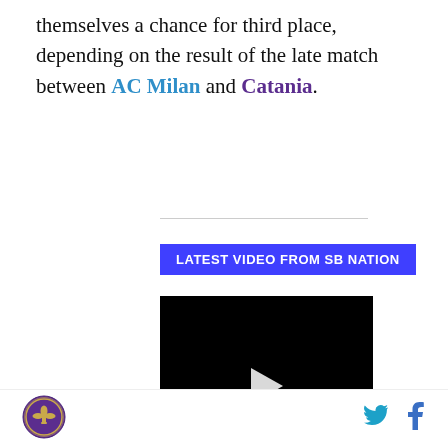themselves a chance for third place, depending on the result of the late match between AC Milan and Catania.
[Figure (other): Black video player with a white play button triangle in the center and a mute icon in the bottom left. Labeled 'LATEST VIDEO FROM SB NATION' above.]
SB Nation logo, Twitter icon, Facebook icon